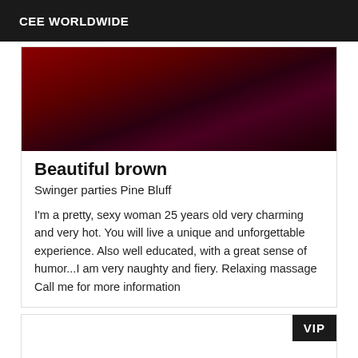CEE WORLDWIDE
[Figure (photo): Dark red abstract background image, upper portion of a listing card]
Beautiful brown
Swinger parties Pine Bluff
I'm a pretty, sexy woman 25 years old very charming and very hot. You will live a unique and unforgettable experience. Also well educated, with a great sense of humor...I am very naughty and fiery. Relaxing massage Call me for more information
[Figure (other): Second listing card with VIP badge, mostly blank white content area]